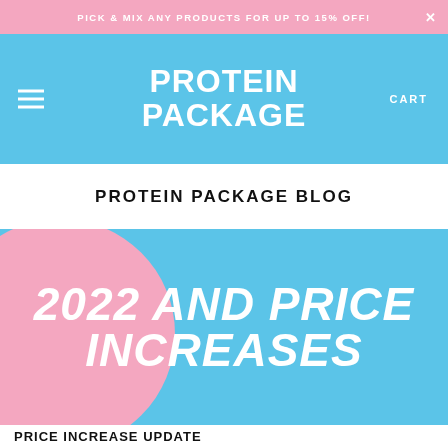PICK & MIX ANY PRODUCTS FOR UP TO 15% OFF!
[Figure (logo): Protein Package logo in white bold uppercase text on blue background, with hamburger menu icon on left and CART text on right]
PROTEIN PACKAGE BLOG
[Figure (illustration): Blue background with large pink circle on left side and bold white italic text reading 2022 AND PRICE INCREASES]
PRICE INCREASE UPDATE